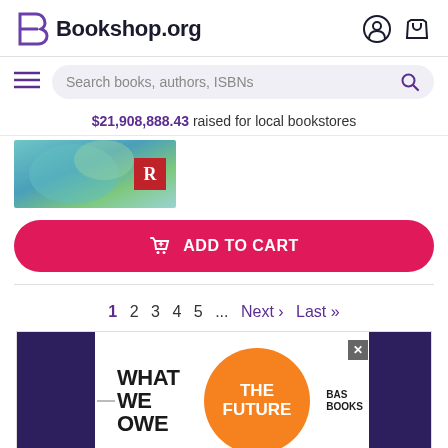Bookshop.org
Search books, authors, ISBNs
$21,908,888.43 raised for local bookstores
[Figure (photo): Partial book cover with teal/blue abstract art and a red square with the letter R]
ADD TO CART
1 2 3 4 5 ... Next › Last »
[Figure (advertisement): Ad banner for 'What We Owe The Future' book — WHAT WE OWE text on left, orange circle with THE FUTURE in white, BAS BOOKS label, close button]